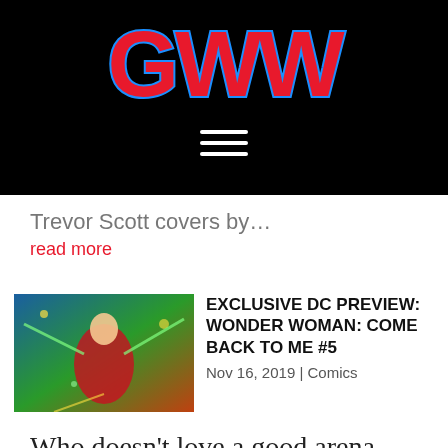[Figure (logo): GWW logo in red letters with blue outline on black background]
Trevor Scott covers by…
read more
[Figure (illustration): Wonder Woman comic book cover art thumbnail]
EXCLUSIVE DC PREVIEW: WONDER WOMAN: COME BACK TO ME #5
Nov 16, 2019 | Comics
Who doesn't love a good arena deathmatch? From Gladiator to Thor: Ragnarok to Sparticus to even Spongebob Squarepants: